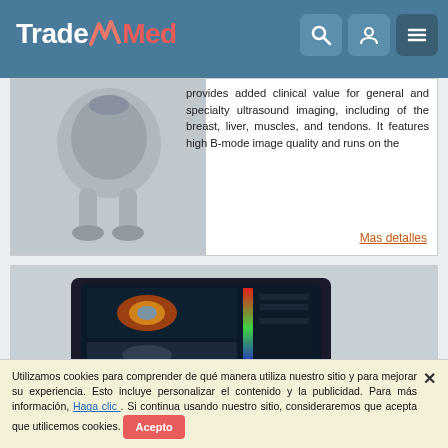TradeMed
[Figure (photo): Ultrasound machine product photo, partially visible at top of product card]
provides added clinical value for general and specialty ultrasound imaging, including of the breast, liver, muscles, and tendons. It features high B-mode image quality and runs on the
Mas detalles
[Figure (photo): Philips ultrasound system with large display showing ultrasound and shear wave elastography images on a cart-based system]
Ultrasound System
Utilizamos cookies para comprender de qué manera utiliza nuestro sitio y para mejorar su experiencia. Esto incluye personalizar el contenido y la publicidad. Para más información, Haga clic . Si continua usando nuestro sitio, consideraremos que acepta que utilicemos cookies. Acepto